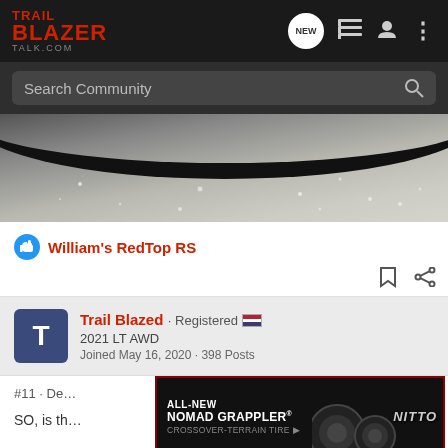TrailBlazer Talk.com
Search Community
[Figure (photo): Close-up photo of a car hood or glass surface with water droplets, showing a dark arc/trim at the top]
William's RedTop RS
Trail Blazed · Registered
2021 LT AWD
Joined May 16, 2020 · 398 Posts
#11 · De…
SO, is th…
[Figure (photo): Advertisement banner: ALL-NEW NOMAD GRAPPLER CROSSOVER-TERRAIN TIRE with Nitto branding and tire image]